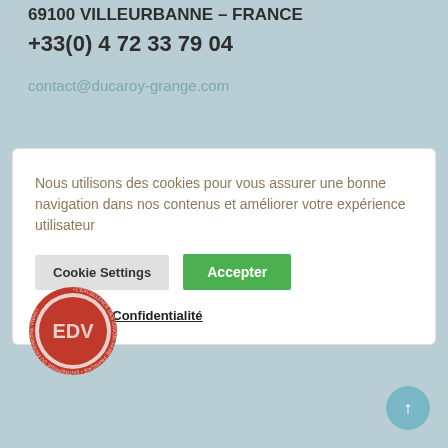69100 VILLEURBANNE – FRANCE
+33(0) 4 72 33 79 04
contact@ducaroy-grange.com
Nous utilisons des cookies pour vous assurer une bonne navigation dans nos contenus et améliorer votre expérience utilisateur
Cookie Settings
Accepter
Politique de Confidentialité
[Figure (logo): EPV (Entreprise du Patrimoine Vivant) circular red logo with letter E, D, V and French text around the border]
↑